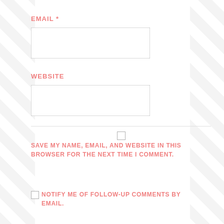EMAIL *
[Figure (other): Email text input field (empty)]
WEBSITE
[Figure (other): Website text input field (empty)]
SAVE MY NAME, EMAIL, AND WEBSITE IN THIS BROWSER FOR THE NEXT TIME I COMMENT.
NOTIFY ME OF FOLLOW-UP COMMENTS BY EMAIL.